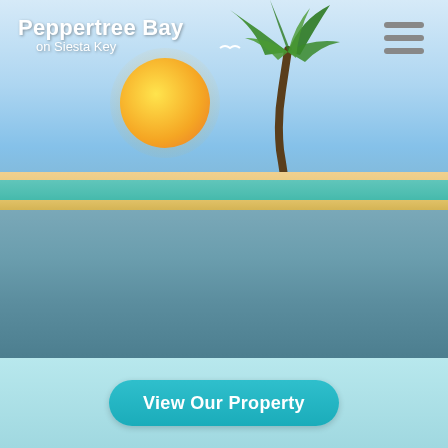[Figure (illustration): Peppertree Bay on Siesta Key website screenshot showing a beach scene with ocean waves, sandy beach, and a tropical header with logo including palm tree and sunset graphic. Navigation hamburger menu in top right. Teal footer bar with 'View Our Property' button.]
Peppertree Bay on Siesta Key
View Our Property